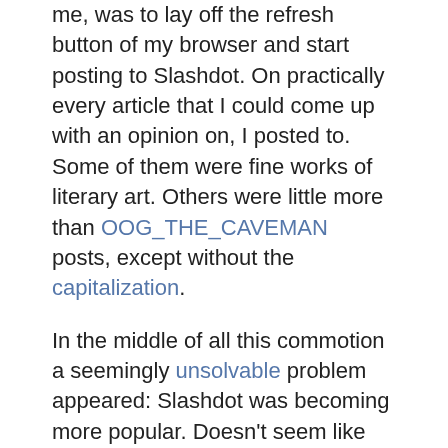me, was to lay off the refresh button of my browser and start posting to Slashdot. On practically every article that I could come up with an opinion on, I posted to. Some of them were fine works of literary art. Others were little more than OOG_THE_CAVEMAN posts, except without the capitalization.
In the middle of all this commotion a seemingly unsolvable problem appeared: Slashdot was becoming more popular. Doesn't seem like much of a problem, really, until you realize one of the first laws of the internet: "In any large gathering, the majority of people are idiots". Like Usenet, a subculture rapidly formed whose only